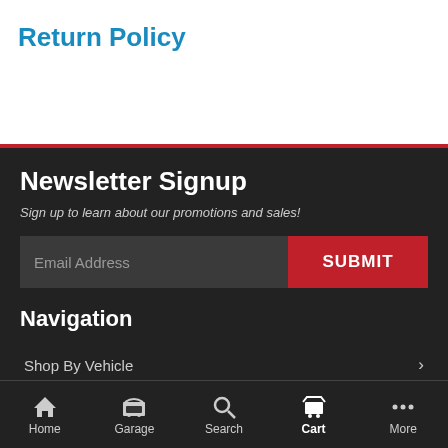Return Policy
Newsletter Signup
Sign up to learn about our promotions and sales!
Navigation
Shop By Vehicle
Sign In
Home  Garage  Search  Cart  More